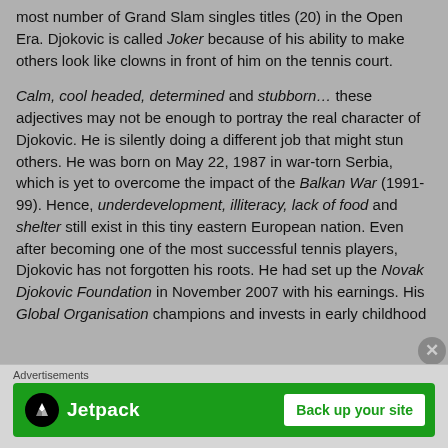most number of Grand Slam singles titles (20) in the Open Era. Djokovic is called Joker because of his ability to make others look like clowns in front of him on the tennis court.
Calm, cool headed, determined and stubborn… these adjectives may not be enough to portray the real character of Djokovic. He is silently doing a different job that might stun others. He was born on May 22, 1987 in war-torn Serbia, which is yet to overcome the impact of the Balkan War (1991-99). Hence, underdevelopment, illiteracy, lack of food and shelter still exist in this tiny eastern European nation. Even after becoming one of the most successful tennis players, Djokovic has not forgotten his roots. He had set up the Novak Djokovic Foundation in November 2007 with his earnings. His Global Organisation champions and invests in early childhood
Advertisements
[Figure (other): Jetpack advertisement banner: green background with Jetpack logo on left and 'Back up your site' button on right]